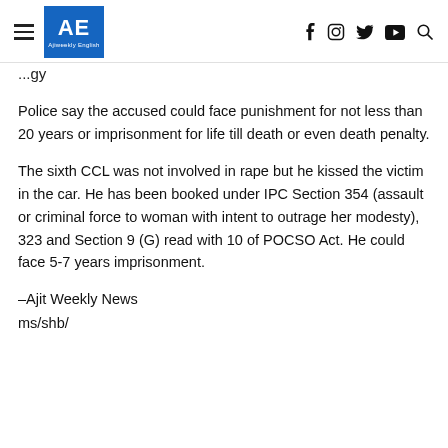AE Ajiweekly English — navigation header with social icons
...gy
Police say the accused could face punishment for not less than 20 years or imprisonment for life till death or even death penalty.
The sixth CCL was not involved in rape but he kissed the victim in the car. He has been booked under IPC Section 354 (assault or criminal force to woman with intent to outrage her modesty), 323 and Section 9 (G) read with 10 of POCSO Act. He could face 5-7 years imprisonment.
–Ajit Weekly News
ms/shb/